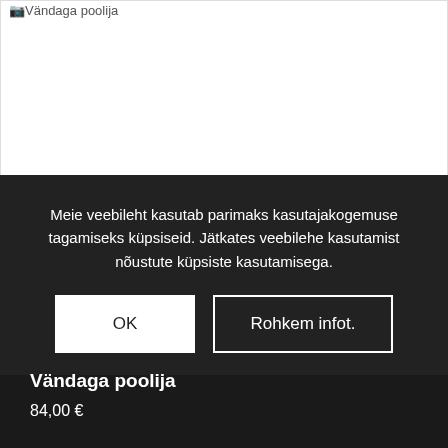[Figure (photo): Product image placeholder showing text 'Vändaga poolija' in top-left corner with a small green/landscape icon, large white empty area below]
Meie veebileht kasutab parimaks kasutajakogemuse tagamiseks küpsiseid. Jätkates veebilehe kasutamist nõustute küpsiste kasutamisega.
OK
Rohkem infot.
Vändaga poolija
84,00 €